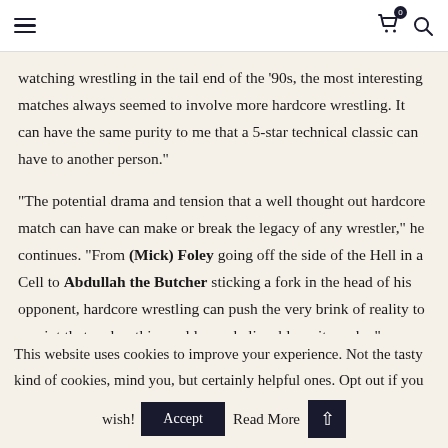Navigation header with hamburger menu, cart icon with badge 0, and search icon
watching wrestling in the tail end of the ’90s, the most interesting matches always seemed to involve more hardcore wrestling. It can have the same purity to me that a 5-star technical classic can have to another person.”
“The potential drama and tension that a well thought out hardcore match can have can make or break the legacy of any wrestler,” he continues. “From (Mick) Foley going off the side of the Hell in a Cell to Abdullah the Butcher sticking a fork in the head of his opponent, hardcore wrestling can push the very brink of reality to a point that makes this world as unbelievable as it can be.”
This website uses cookies to improve your experience. Not the tasty kind of cookies, mind you, but certainly helpful ones. Opt out if you wish!
Accept
Read More